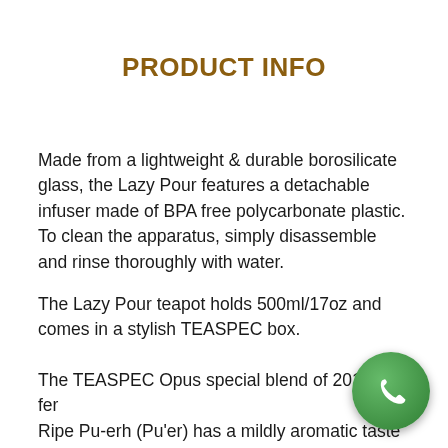PRODUCT INFO
Made from a lightweight & durable borosilicate glass, the Lazy Pour features a detachable infuser made of BPA free polycarbonate plastic. To clean the apparatus, simply disassemble and rinse thoroughly with water.
The Lazy Pour teapot holds 500ml/17oz and comes in a stylish TEASPEC box.
The TEASPEC Opus special blend of 2017 fermented Ripe Pu-erh (Pu'er) has a mildly aromatic taste with a more mellow, full-bodied flavour and is made from hand-picked, sun-dried tea leaves from Yunnan, China